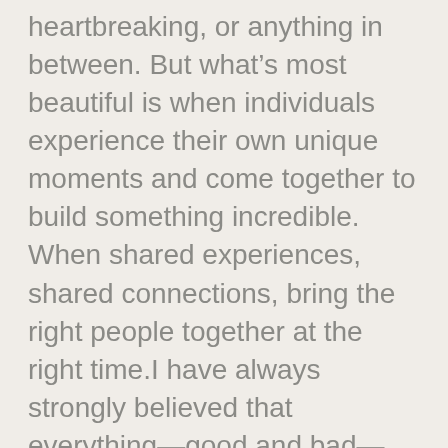heartbreaking, or anything in between. But what's most beautiful is when individuals experience their own unique moments and come together to build something incredible. When shared experiences, shared connections, bring the right people together at the right time.I have always strongly believed that everything—good and bad—happens for a reason. That each of these moments of impact add up to something beautiful, even if they were born out of pain.

One such moment of impact